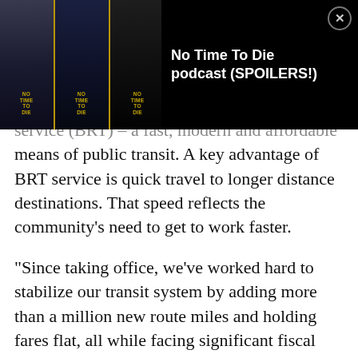[Figure (screenshot): A podcast advertisement banner overlay showing three 'No Time To Die' movie poster images side by side with text 'No Time To Die podcast (SPOILERS!)' on a black background with a close (X) button in the top right corner.]
service (BRT) – a fast, modern and affordable means of public transit. A key advantage of BRT service is quick travel to longer distance destinations. That speed reflects the community's need to get to work faster.
"Since taking office, we've worked hard to stabilize our transit system by adding more than a million new route miles and holding fares flat, all while facing significant fiscal challenges," said County Executive Abele. "We've heard from the community, and we are now taking the next step.